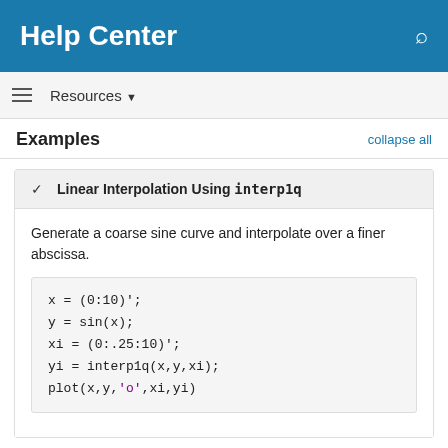Help Center
Examples
Linear Interpolation Using interp1q
Generate a coarse sine curve and interpolate over a finer abscissa.
x = (0:10)';
y = sin(x);
xi = (0:.25:10)';
yi = interp1q(x,y,xi);
plot(x,y,'o',xi,yi)
[Figure (continuous-plot): Partial view of a sine interpolation plot showing orange line segments connecting data points (circles), y-axis labeled from 0.4 to 1, x-axis partially visible]